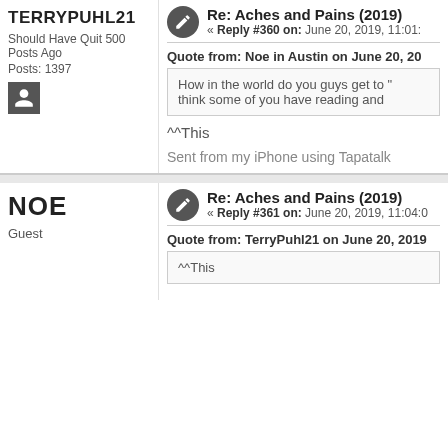TERRYPUHL21
Should Have Quit 500 Posts Ago
Posts: 1397
[Figure (other): User avatar placeholder icon]
Re: Aches and Pains (2019)
« Reply #360 on: June 20, 2019, 11:01:
Quote from: Noe in Austin on June 20, 20
How in the world do you guys get to " think some of you have reading and
^^This
Sent from my iPhone using Tapatalk
NOE
Guest
Re: Aches and Pains (2019)
« Reply #361 on: June 20, 2019, 11:04:0
Quote from: TerryPuhl21 on June 20, 2019
^^This